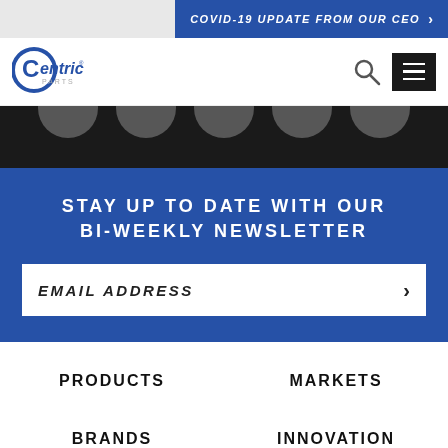COVID-19 UPDATE FROM OUR CEO
[Figure (logo): Centric Parts logo — circular blue 'C' with 'entric' in blue script and 'PARTS' below]
STAY UP TO DATE WITH OUR BI-WEEKLY NEWSLETTER
EMAIL ADDRESS
PRODUCTS
MARKETS
BRANDS
INNOVATION